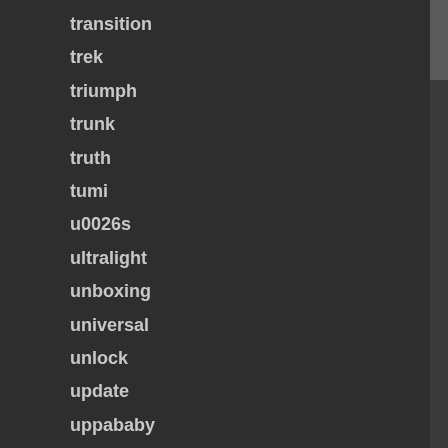transition
trek
triumph
trunk
truth
tumi
u0026s
ultralight
unboxing
universal
unlock
update
uppababy
variable
variant
vaughn
velomotion
veloster
viking